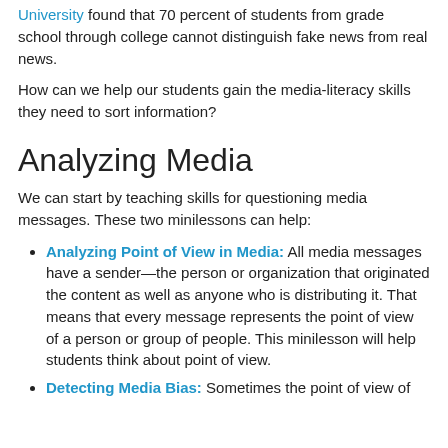University found that 70 percent of students from grade school through college cannot distinguish fake news from real news.
How can we help our students gain the media-literacy skills they need to sort information?
Analyzing Media
We can start by teaching skills for questioning media messages. These two minilessons can help:
Analyzing Point of View in Media: All media messages have a sender—the person or organization that originated the content as well as anyone who is distributing it. That means that every message represents the point of view of a person or group of people. This minilesson will help students think about point of view.
Detecting Media Bias: Sometimes the point of view of